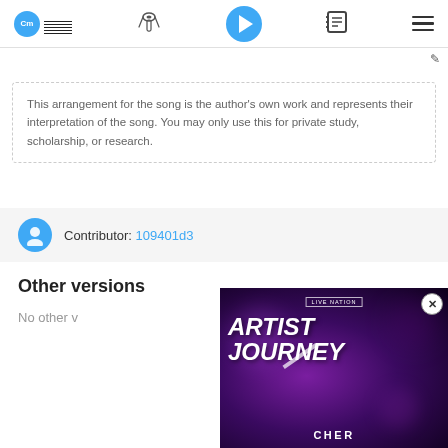[Figure (screenshot): Navigation bar with logo (Cm music notation badge), capo tool icon, play button, notebook icon, and hamburger menu]
This arrangement for the song is the author's own work and represents their interpretation of the song. You may only use this for private study, scholarship, or research.
Contributor: 109401d3
Other versions
No other v...
[Figure (screenshot): Live Nation ad overlay: Artist Journey - Cher, dark purple bokeh background with bold italic white text 'ARTIST JOURNEY' and 'CHER' below, close button (X) in top right corner]